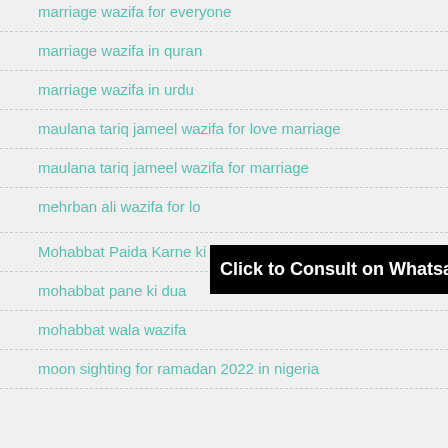marriage wazifa for everyone
marriage wazifa in quran
marriage wazifa in urdu
maulana tariq jameel wazifa for love marriage
maulana tariq jameel wazifa for marriage
mehrban ali wazifa for lo...
[Figure (screenshot): Black popup banner reading 'Click to Consult on Whatsapp']
Mohabbat Paida Karne ki Dua in 3 Days
mohabbat pane ki dua
mohabbat wala wazifa
moon sighting for ramadan 2022 in nigeria